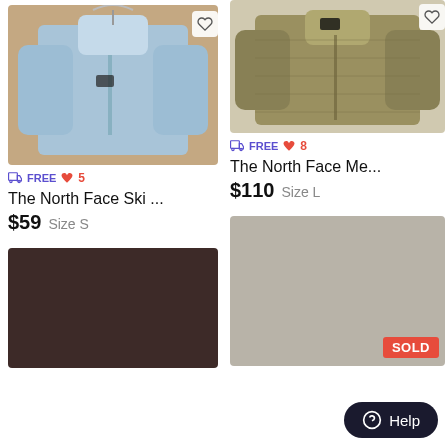[Figure (photo): Light blue North Face ski jacket hanging on hanger, heart/favorite icon top right corner]
=☁ FREE ♥ 5
The North Face Ski ...
$59  Size S
[Figure (photo): Dark brown/maroon jacket, bottom of page left column]
[Figure (photo): Khaki/olive quilted North Face jacket laid on floor, heart/favorite icon top right]
=☁ FREE ♥ 8
The North Face Me...
$110  Size L
[Figure (photo): Grey/taupe solid colored item with SOLD badge in bottom right corner]
SOLD
⓪ Help